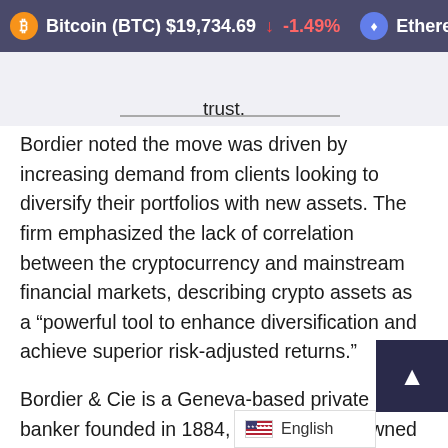Bitcoin (BTC) $19,734.69 ↓ -1.49%   Ethereum (ETH) $1,...
trust.
Bordier noted the move was driven by increasing demand from clients looking to diversify their portfolios with new assets. The firm emphasized the lack of correlation between the cryptocurrency and mainstream financial markets, describing crypto assets as a “powerful tool to enhance diversification and achieve superior risk-adjusted returns.”
Bordier & Cie is a Geneva-based private banker founded in 1884, that has been owned and managed by the Bordier family for five generations. The bank’s introduction to crypto fo
English